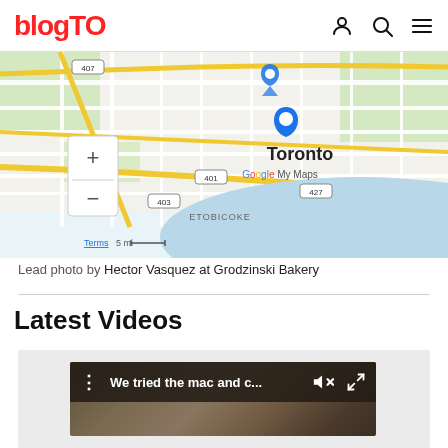blogTO
[Figure (map): Google My Maps showing Toronto area with map pins, streets, highway markers (407, 401, 427, 403), zoom controls, scale bar, and waterfront.]
Lead photo by Hector Vasquez at Grodzinski Bakery
Latest Videos
[Figure (screenshot): Video player showing 'We tried the mac and c...' with mute and fullscreen icons on dark toolbar]